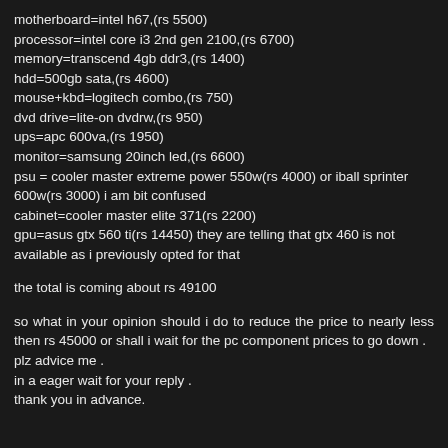motherboard=intel h67,(rs 5500)
processor=intel core i3 2nd gen 2100,(rs 6700)
memory=transcend 4gb ddr3,(rs 1400)
hdd=500gb sata,(rs 4600)
mouse+kbd=logitech combo,(rs 750)
dvd drive=lite-on dvdrw,(rs 950)
ups=apc 600va,(rs 1950)
monitor=samsung 20inch led,(rs 6600)
psu = cooler master extreme power 550w(rs 4000) or iball sprinter 600w(rs 3000) i am bit confused
cabinet=cooler master elite 371(rs 2200)
gpu=asus gtx 560 ti(rs 14450) they are telling that gtx 460 is not available as i previously opted for that
the total is coming about rs 49100
so what in your opinion should i do to reduce the price to nearly less then rs 45000 or shall i wait for the pc component prices to go down .
plz advice me .
in a eager wait for your reply .
thank you in advance.